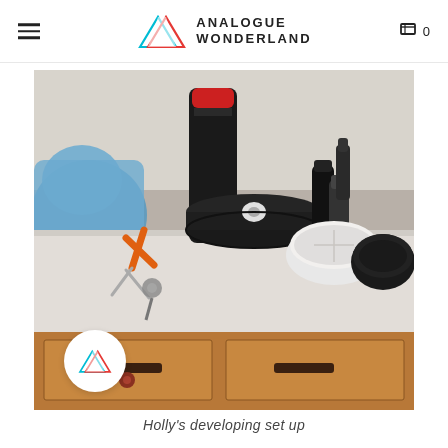Analogue Wonderland
[Figure (photo): Photo of Holly's film developing set up on a kitchen counter. Items visible include a film developing tank with lid, reel, scissors, various dark room tools, a plastic container, and a black lid, all laid out on a white/grey countertop above wooden cabinet drawers.]
Holly's developing set up